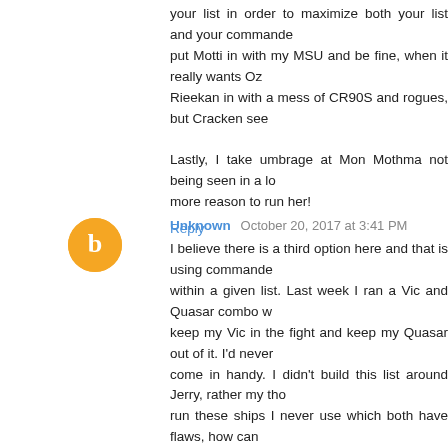your list in order to maximize both your list and your commander. put Motti in with my MSU and be fine, when it really wants Oz... Rieekan in with a mess of CR90S and rogues, but Cracken seem...
Lastly, I take umbrage at Mon Mothma not being seen in a lo... more reason to run her!
Reply
Unknown   October 20, 2017 at 3:41 PM
I believe there is a third option here and that is using command... within a given list. Last week I ran a Vic and Quasar combo w... keep my Vic in the fight and keep my Quasar out of it. I'd never... come in handy. I didn't build this list around Jerry, rather my tho... run these ships I never use which both have flaws, how can... Screed in the same manner, adding dice reliability to a list which... come through(he's great on big pool ships) or ensure at least or... Arquitens).
Now, I'm not a super competitive player, and perhaps that is... coming from. I play for the fun of it, and sometimes I will bu... commander, and other times I build lists based on certain ships... fit in that list best.